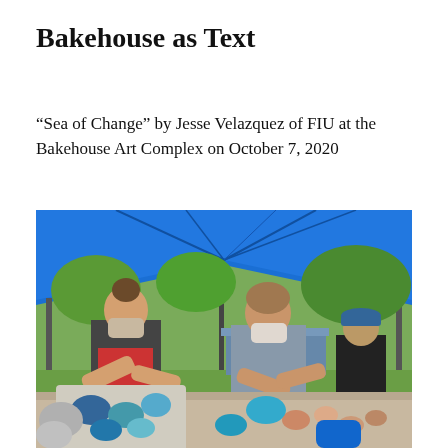Bakehouse as Text
Bakehouse as Text
“Sea of Change” by Jesse Velazquez of FIU at the Bakehouse Art Complex on October 7, 2020
[Figure (photo): Two people wearing face masks work with colorful art materials (ceramic/mosaic pieces in blues and teals) on a table under a blue canopy tent outdoors on grass. A third person in a blue cap is visible in the background.]